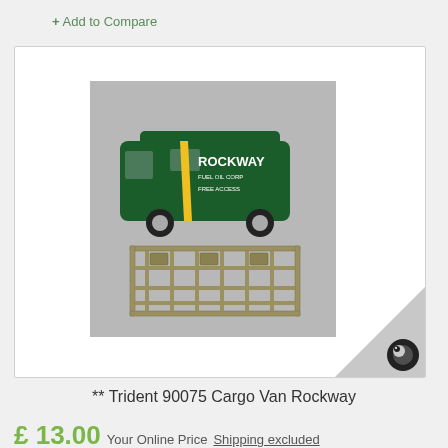+ Add to Compare
[Figure (photo): Photo of a dark green Trident 90075 Cargo Van toy model with 'Rockway' branding, alongside a sprue of metal model parts, on a silver/foil background.]
** Trident 90075 Cargo Van Rockway
£ 13.00 Your Online Price Shipping excluded